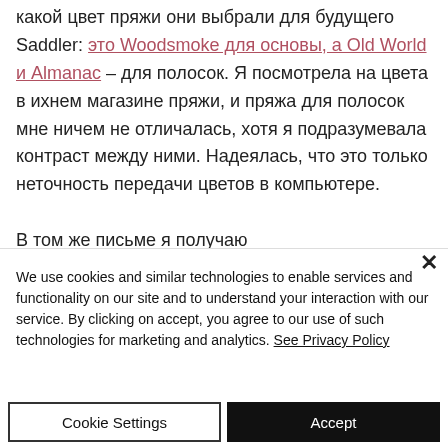какой цвет пряжи они выбрали для будущего Saddler: это Woodsmoke для основы, а Old World и Almanac – для полосок. Я посмотрела на цвета в ихнем магазине пряжи, и пряжа для полосок мне ничем не отличалась, хотя я подразумевала контраст между ними. Надеялась, что это только неточность передачи цветов в компьютере.
В том же письме я получаю
We use cookies and similar technologies to enable services and functionality on our site and to understand your interaction with our service. By clicking on accept, you agree to our use of such technologies for marketing and analytics. See Privacy Policy
Cookie Settings
Accept